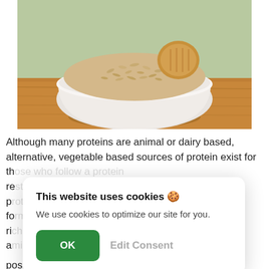[Figure (photo): A white ceramic bowl filled with oats/grains and a cookie, placed on a wooden surface with green background.]
Although many proteins are animal or dairy based, alternative, vegetable based sources of protein exist for the... re... up p... fo... n ri... a...
This website uses cookies 🍪
We use cookies to optimize our site for you.
OK    Edit Consent
positive qualities, it's hypoallergonic, retains the n